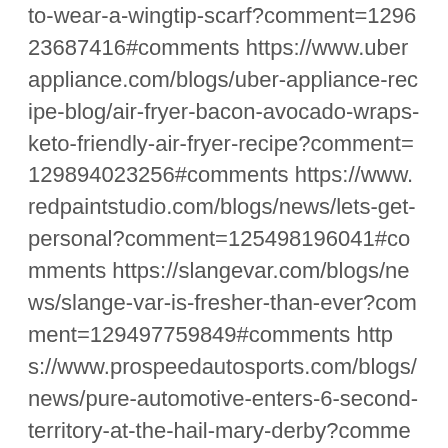to-wear-a-wingtip-scarf?comment=129623687416#comments https://www.uberappliance.com/blogs/uber-appliance-recipe-blog/air-fryer-bacon-avocado-wraps-keto-friendly-air-fryer-recipe?comment=129894023256#comments https://www.redpaintstudio.com/blogs/news/lets-get-personal?comment=125498196041#comments https://slangevar.com/blogs/news/slange-var-is-fresher-than-ever?comment=129497759849#comments https://www.prospeedautosports.com/blogs/news/pure-automotive-enters-6-second-territory-at-the-hail-mary-derby?comment=127819284646#comments https://masterpierce.com/he/blogs/news/myth-busting-aftercare-tips?comment=126675091498#comments